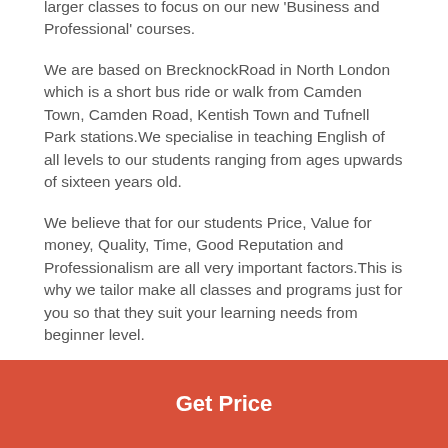larger classes to focus on our new 'Business and Professional' courses.
We are based on BrecknockRoad in North London which is a short bus ride or walk from Camden Town, Camden Road, Kentish Town and Tufnell Park stations.We specialise in teaching English of all levels to our students ranging from ages upwards of sixteen years old.
We believe that for our students Price, Value for money, Quality, Time, Good Reputation and Professionalism are all very important factors.This is why we tailor make all classes and programs just for you so that they suit your learning needs from beginner level.
Your studies with us at ME Languages will be in
Get Price